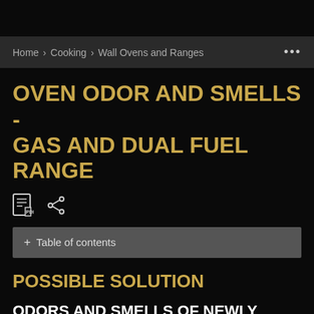Home > Cooking > Wall Ovens and Ranges
OVEN ODOR AND SMELLS - GAS AND DUAL FUEL RANGE
+ Table of contents
POSSIBLE SOLUTION
ODORS AND SMELLS OF NEWLY INSTALLED OVENS
How can we help you?